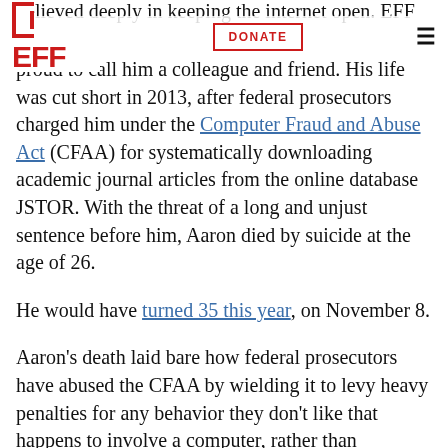EFF | DONATE
believed deeply in keeping the internet open. EFF was proud to call him a colleague and friend. His life was cut short in 2013, after federal prosecutors charged him under the Computer Fraud and Abuse Act (CFAA) for systematically downloading academic journal articles from the online database JSTOR. With the threat of a long and unjust sentence before him, Aaron died by suicide at the age of 26.
He would have turned 35 this year, on November 8.
Aaron's death laid bare how federal prosecutors have abused the CFAA by wielding it to levy heavy penalties for any behavior they don't like that happens to involve a computer, rather than stopping malicious computer break-ins. EFF has continued to fight its misuses, including filing a